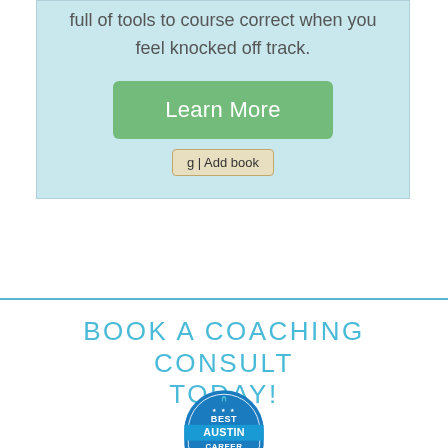full of tools to course correct when you feel knocked off track.
[Figure (other): Green 'Learn More' button]
[Figure (other): Goodreads 'g | Add book' button]
BOOK A COACHING CONSULT TODAY!
[Figure (logo): Best Austin Career badge/seal logo with bold white text 'BEST AUSTIN CAREER' on blue background]